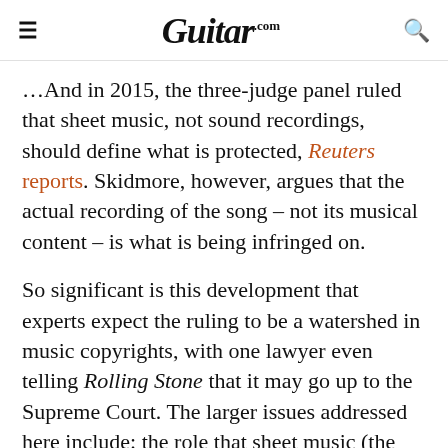Guitar.com
…And in 2015, the three-judge panel ruled that sheet music, not sound recordings, should define what is protected, Reuters reports. Skidmore, however, argues that the actual recording of the song – not its musical content – is what is being infringed on.
So significant is this development that experts expect the ruling to be a watershed in music copyrights, with one lawyer even telling Rolling Stone that it may go up to the Supreme Court. The larger issues addressed here include: the role that sheet music (the physical copy of which is deposited into federal offices) plays in determining copyright, as well as how much creative expression